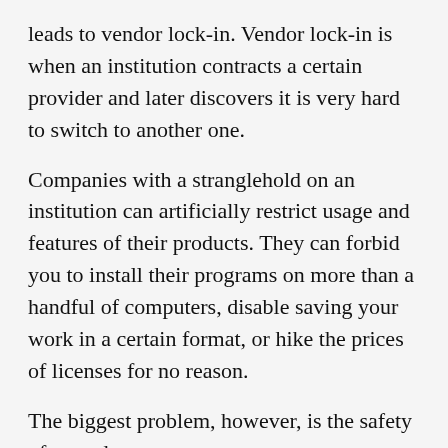leads to vendor lock-in. Vendor lock-in is when an institution contracts a certain provider and later discovers it is very hard to switch to another one.
Companies with a stranglehold on an institution can artificially restrict usage and features of their products. They can forbid you to install their programs on more than a handful of computers, disable saving your work in a certain format, or hike the prices of licenses for no reason.
The biggest problem, however, is the safety of your data.
Closed software makes solving flaws especially hard and expensive. Even if you know how to solve its vulnerabilities, you would not be legally allowed to do so. Many branches of our public administration often have to keep running insecure software